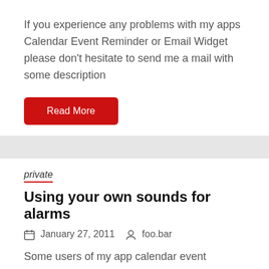If you experience any problems with my apps Calendar Event Reminder or Email Widget please don't hesitate to send me a mail with some description
Read More
private
Using your own sounds for alarms
January 27, 2011   foo.bar
Some users of my app calendar event reminder asked me how they can use custom sounds for notifications, alarms or ringtones. This can be easily
Read More